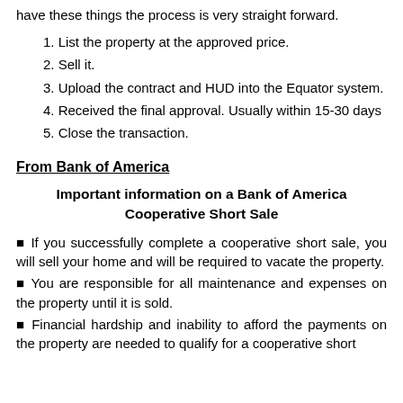have these things the process is very straight forward.
1. List the property at the approved price.
2. Sell it.
3. Upload the contract and HUD into the Equator system.
4. Received the final approval. Usually within 15-30 days
5. Close the transaction.
From Bank of America
Important information on a Bank of America Cooperative Short Sale
■ If you successfully complete a cooperative short sale, you will sell your home and will be required to vacate the property.
■ You are responsible for all maintenance and expenses on the property until it is sold.
■ Financial hardship and inability to afford the payments on the property are needed to qualify for a cooperative short